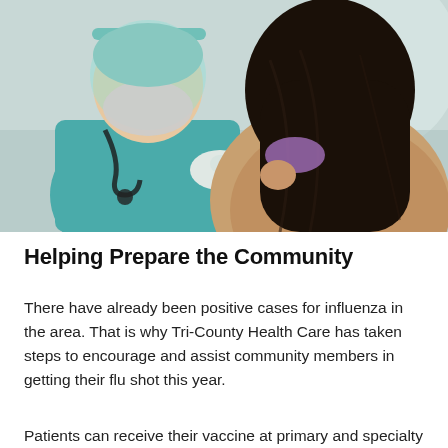[Figure (photo): A healthcare worker in teal scrubs, gloves, and face shield administering a vaccine injection to a patient with long dark hair wearing a purple mask, seen from behind with bare shoulder exposed.]
Helping Prepare the Community
There have already been positive cases for influenza in the area. That is why Tri-County Health Care has taken steps to encourage and assist community members in getting their flu shot this year.
Patients can receive their vaccine at primary and specialty